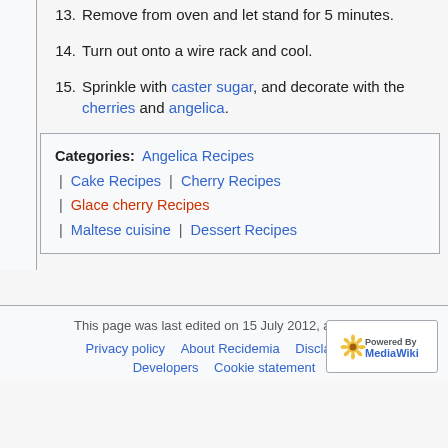13. Remove from oven and let stand for 5 minutes.
14. Turn out onto a wire rack and cool.
15. Sprinkle with caster sugar, and decorate with the cherries and angelica.
| Categories: Angelica Recipes | Cake Recipes | Cherry Recipes | Glace cherry Recipes | Maltese cuisine | Dessert Recipes |
This page was last edited on 15 July 2012, at 12:15. Privacy policy  About Recidemia  Disclaimers  Developers  Cookie statement